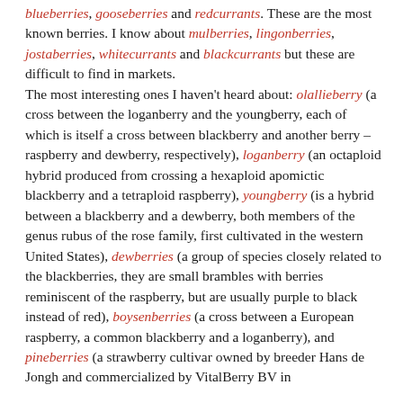blueberries, gooseberries and redcurrants. These are the most known berries. I know about mulberries, lingonberries, jostaberries, whitecurrants and blackcurrants but these are difficult to find in markets. The most interesting ones I haven't heard about: olallieberry (a cross between the loganberry and the youngberry, each of which is itself a cross between blackberry and another berry – raspberry and dewberry, respectively), loganberry (an octaploid hybrid produced from crossing a hexaploid apomictic blackberry and a tetraploid raspberry), youngberry (is a hybrid between a blackberry and a dewberry, both members of the genus rubus of the rose family, first cultivated in the western United States), dewberries (a group of species closely related to the blackberries, they are small brambles with berries reminiscent of the raspberry, but are usually purple to black instead of red), boysenberries (a cross between a European raspberry, a common blackberry and a loganberry), and pineberries (a strawberry cultivar owned by breeder Hans de Jongh and commercialized by VitalBerry BV in